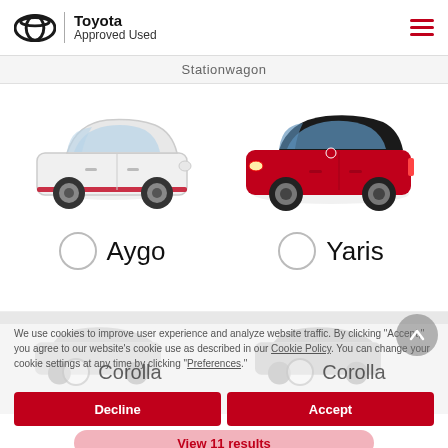[Figure (logo): Toyota Approved Used logo with Toyota circular emblem and text]
Stationwagon
[Figure (photo): White Toyota Aygo car facing right]
Aygo
[Figure (photo): Red Toyota Yaris car facing left]
Yaris
We use cookies to improve user experience and analyze website traffic. By clicking "Accept," you agree to our website's cookie use as described in our Cookie Policy. You can change your cookie settings at any time by clicking "Preferences."
Corolla
Corolla
Decline
Accept
View 11 results
Preferences